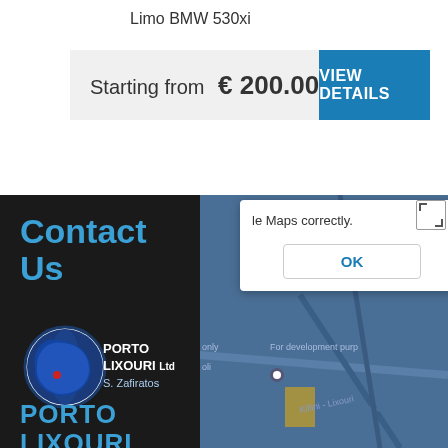Limo BMW 530xi
Starting from  € 200.00
VIEW DETAILS
Contact Us
[Figure (logo): Porto Lixouri Ltd S. Zafiratos circular logo with globe and blue map]
PORTO LIXOURI
[Figure (screenshot): Google Maps partial screenshot with a dialog overlay showing 'le Maps correctly.' and an OK button]